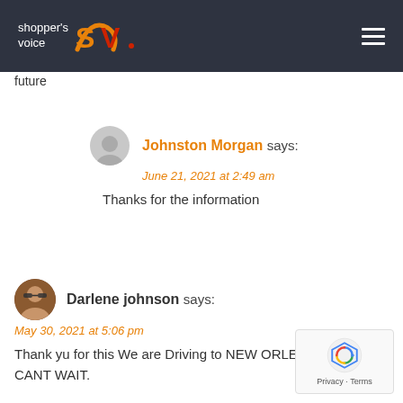[Figure (logo): Shopper's Voice SV logo on dark header with hamburger menu]
future
Johnston Morgan says:
June 21, 2021 at 2:49 am
Thanks for the information
Darlene johnson says:
May 30, 2021 at 5:06 pm
Thank yu for this We are Driving to NEW ORLEANS WHICH I CANT WAIT.